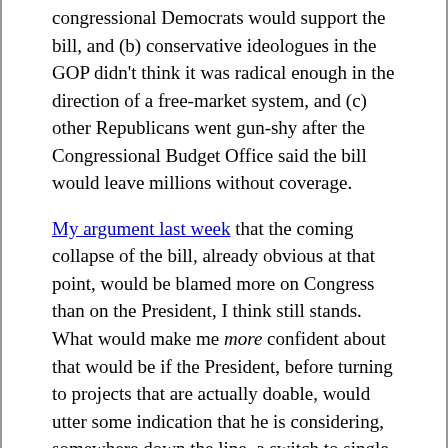congressional Democrats would support the bill, and (b) conservative ideologues in the GOP didn't think it was radical enough in the direction of a free-market system, and (c) other Republicans went gun-shy after the Congressional Budget Office said the bill would leave millions without coverage.
My argument last week that the coming collapse of the bill, already obvious at that point, would be blamed more on Congress than on the President, I think still stands. What would make me more confident about that would be if the President, before turning to projects that are actually doable, would utter some indication that he is considering, somewhere down the line, a switch to single-payer nationalized healthcare.
I've been arguing for years that the